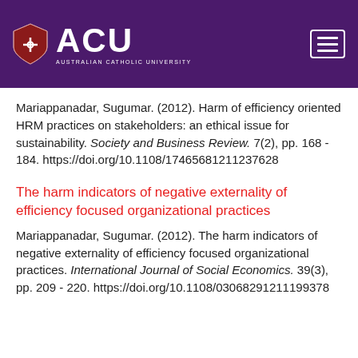ACU AUSTRALIAN CATHOLIC UNIVERSITY
Mariappanadar, Sugumar. (2012). Harm of efficiency oriented HRM practices on stakeholders: an ethical issue for sustainability. Society and Business Review. 7(2), pp. 168 - 184. https://doi.org/10.1108/17465681211237628
The harm indicators of negative externality of efficiency focused organizational practices
Mariappanadar, Sugumar. (2012). The harm indicators of negative externality of efficiency focused organizational practices. International Journal of Social Economics. 39(3), pp. 209 - 220. https://doi.org/10.1108/03068291211199378